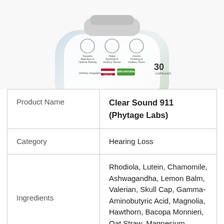[Figure (photo): Product bottle of Clear Sound 911 dietary supplement by Phytage Labs. The bottle label shows icons for Supports Retention of Optimal Hearing, Helps Soothing of Auditory Nerves, Assists Flushing of Auditory Toxins. Made in the USA, 100% Natural. 30 capsules.]
| Product Name | Clear Sound 911 (Phytage Labs) |
| Category | Hearing Loss |
| Ingredients | Rhodiola, Lutein, Chamomile, Ashwagandha, Lemon Balm, Valerian, Skull Cap, Gamma-Aminobutyric Acid, Magnolia, Hawthorn, Bacopa Monnieri, Oat Straw, Magnesium, |